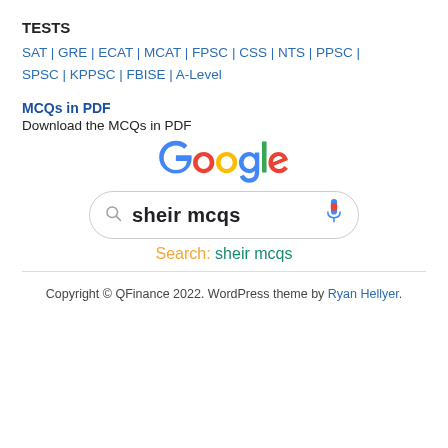TESTS
SAT | GRE | ECAT | MCAT | FPSC | CSS | NTS | PPSC | SPSC | KPPSC | FBISE | A-Level
MCQs in PDF
Download the MCQs in PDF
[Figure (screenshot): Google search bar showing 'sheir mcqs' as search text with a microphone icon, and below it shows 'Search: sheir mcqs' in orange and teal colors, above the Google logo in multicolor]
Copyright © QFinance 2022. WordPress theme by Ryan Hellyer.